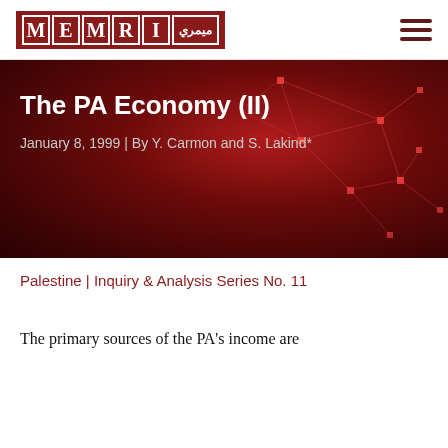[Figure (logo): MEMRI logo with red box containing letters M E M R I and Arabic text]
The PA Economy (II)
January 8, 1999 | By Y. Carmon and S. Lakind*
Palestine | Inquiry & Analysis Series No. 11
The primary sources of the PA's income are